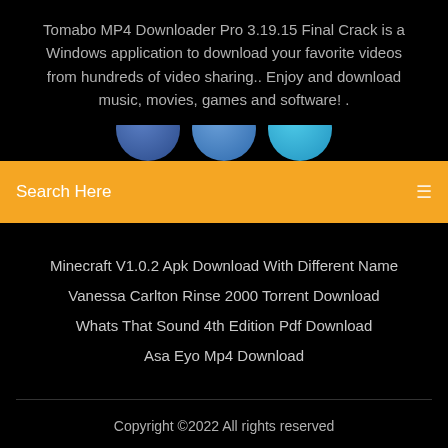Tomabo MP4 Downloader Pro 3.19.15 Final Crack is a Windows application to download your favorite videos from hundreds of video sharing.. Enjoy and download music, movies, games and software! .
[Figure (illustration): Three partially visible circular social media icons in blue tones, cropped at bottom by orange search bar]
Search Here
Minecraft V1.0.2 Apk Download With Different Name
Vanessa Carlton Rinse 2000 Torrent Download
Whats That Sound 4th Edition Pdf Download
Asa Eyo Mp4 Download
Copyright ©2022 All rights reserved